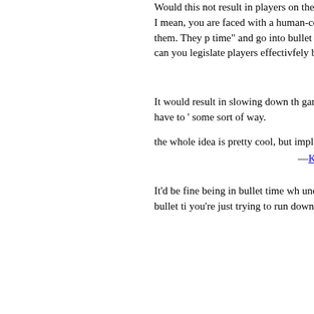Would this not result in players on the map being "ahead" or "behind" in time from others? I mean, you are faced with a human-controlled opponent, and you unleash a stream of bullets at them. They press "bullet time" and go into bullet time. For them, the game is now playing at a slower rate than for you, so how can you legislate against players effectivfely being at different parts of the game from each other?
—ChewTheBeef
It would result in slowing down the whole game whenever 1 person goes into bullet time. Either that or they have to 'warp' in some sort of way.
the whole idea is pretty cool, but how to implement it is a complete diffrent story as much I allready know.
—Keeper of the Blue Flame
It'd be fine being in bullet time when under heavy enemy fire, but not so great when someone else is in bullet time and you're just trying to run down a c